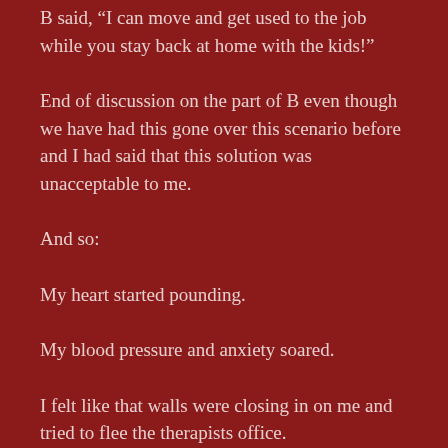B said, “I can move and get used to the job while you stay back at home with the kids!”
End of discussion on the part of B even though we have had this gone over this scenario before and I had said that this solution was unacceptable to me.
And so:
My heart started pounding.
My blood pressure and anxiety soared.
I felt like that walls were closing in on me and tried to flee the therapists office.